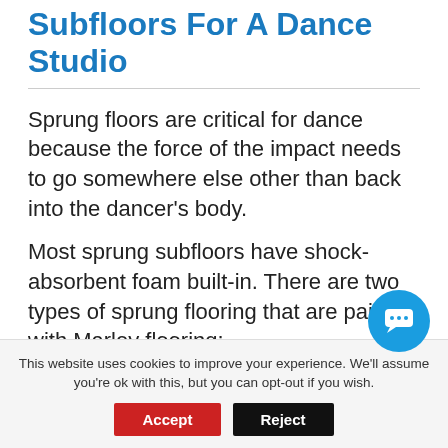Subfloors For A Dance Studio
Sprung floors are critical for dance because the force of the impact needs to go somewhere else other than back into the dancer’s body.
Most sprung subfloors have shock-absorbent foam built-in. There are two types of sprung flooring that are paired with Marley flooring:
Basketweave construction such as
This website uses cookies to improve your experience. We’ll assume you’re ok with this, but you can opt-out if you wish.